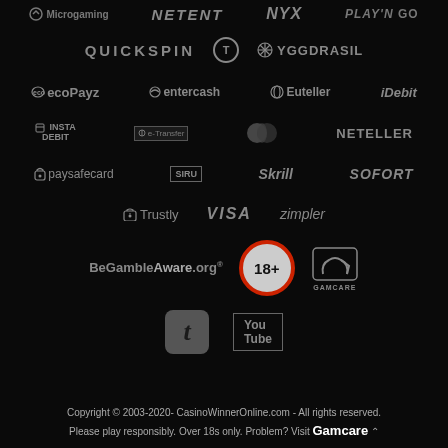[Figure (logo): Row of game provider logos: Microgaming, NetEnt, NYX, Play'n GO (partially cropped at top)]
[Figure (logo): Row of game provider logos: Quickspin, Thunderkick (T circle), Yggdrasil]
[Figure (logo): Row of payment logos: ecoPayz, entercash, Euteller, iDebit]
[Figure (logo): Row of payment logos: INSTA DEBIT, Interac e-Transfer, Mastercard, NETELLER]
[Figure (logo): Row of payment logos: paysafecard, SIRU, Skrill, SOFORT]
[Figure (logo): Row of payment logos: Trustly, VISA, zimpler]
[Figure (logo): Responsible gambling logos: BeGambleAware.org, 18+ badge, GamCare]
[Figure (logo): Social media icons: Twitter/t logo, YouTube]
Copyright © 2003-2020- CasinoWinnerOnline.com - All rights reserved. Please play responsibly. Over 18s only. Problem? Visit Gamcare ^